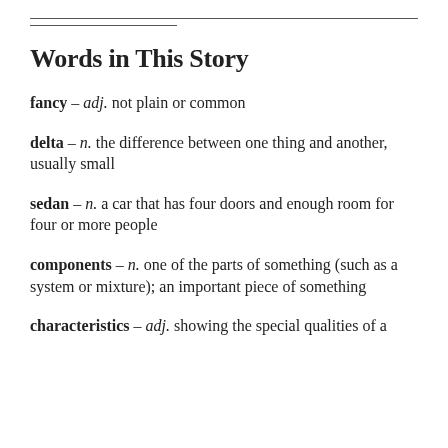Words in This Story
fancy – adj. not plain or common
delta – n. the difference between one thing and another, usually small
sedan – n. a car that has four doors and enough room for four or more people
components – n. one of the parts of something (such as a system or mixture); an important piece of something
characteristics – adj. showing the special qualities of a